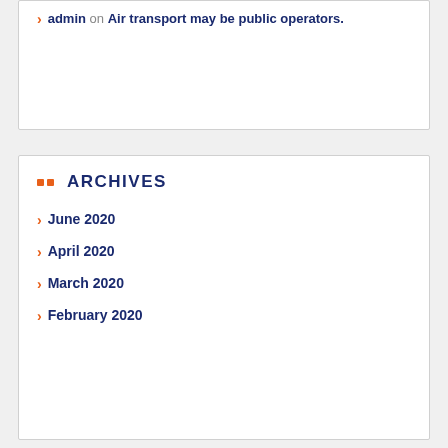admin on Air transport may be public operators.
ARCHIVES
June 2020
April 2020
March 2020
February 2020